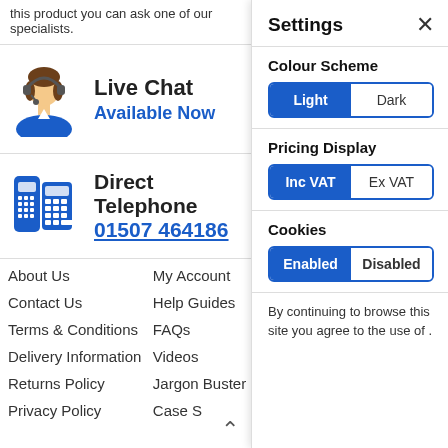this product you can ask one of our specialists.
[Figure (illustration): Customer service agent icon - woman with headset in blue uniform]
Live Chat
Available Now
[Figure (illustration): Blue telephone/calculator icon]
Direct Telephone
01507 464186
About Us
My Account
Contact Us
Help Guides
Terms & Conditions
FAQs
Delivery Information
Videos
Returns Policy
Jargon Buster
Privacy Policy
Case S
Settings
Colour Scheme
Light / Dark toggle
Pricing Display
Inc VAT / Ex VAT toggle
Cookies
Enabled / Disabled toggle
By continuing to browse this site you agree to the use of .